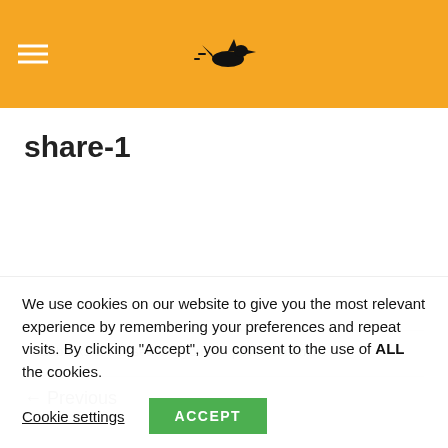Navigation header with hamburger menu and logo
share-1
Trackbacks are closed, but you can post a comment.
← Previous
We use cookies on our website to give you the most relevant experience by remembering your preferences and repeat visits. By clicking "Accept", you consent to the use of ALL the cookies.
Cookie settings  ACCEPT